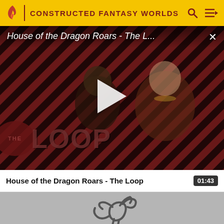CONSTRUCTED FANTASY WORLDS
[Figure (screenshot): Video player showing 'House of the Dragon Roars - The L...' with a play button overlay, diagonal red and black stripe background, two characters from House of the Dragon visible, and 'THE LOOP' branding in the lower left]
House of the Dragon Roars - The Loop
01:43
[Figure (screenshot): Partial thumbnail of a second video showing a gray background with a dragon/creature outline illustration]